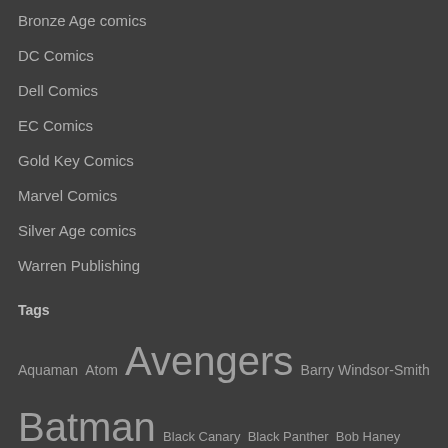Bronze Age comics
DC Comics
Dell Comics
EC Comics
Gold Key Comics
Marvel Comics
Silver Age comics
Warren Publishing
Tags
Aquaman  Atom  Avengers  Barry Windsor-Smith  Batman  Black Canary  Black Panther  Bob Haney  Brave and the Bold  Captain America  Carmine